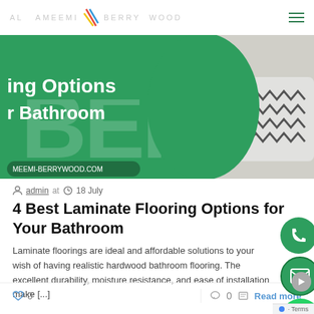AL AMEEMI BERRYWOOD (logo with hamburger menu)
[Figure (photo): Banner image showing laminate flooring options for bathroom, with green background, large BER text, and a bathroom mat on tile floor. URL shown: MEEMI-BERRYWOOD.COM]
admin at  18 July
4 Best Laminate Flooring Options for Your Bathroom
Laminate floorings are ideal and affordable solutions to your wish of having realistic hardwood bathroom flooring. The excellent durability, moisture resistance, and ease of installation make [...]
0   0   Read more